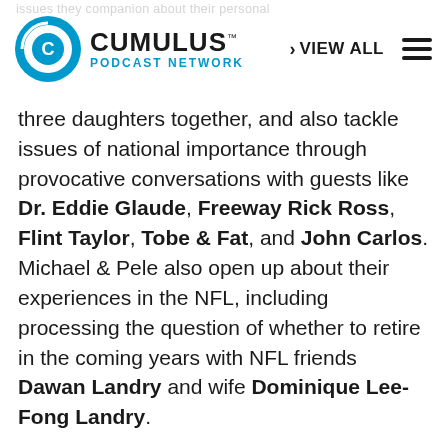CUMULUS PODCAST NETWORK | VIEW ALL
three daughters together, and also tackle issues of national importance through provocative conversations with guests like Dr. Eddie Glaude, Freeway Rick Ross, Flint Taylor, Tobe & Fat, and John Carlos. Michael & Pele also open up about their experiences in the NFL, including processing the question of whether to retire in the coming years with NFL friends Dawan Landry and wife Dominique Lee-Fong Landry.
Over the years, the high school sweethearts have taken on social issues, including racial justice work, food security, and authoring a children's book. Now these unapologetic